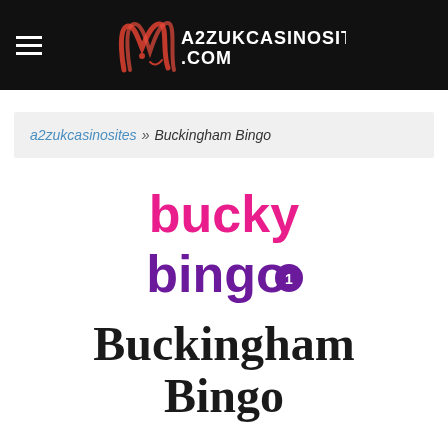a2zukcasinosites.com
a2zukcasinosites » Buckingham Bingo
[Figure (logo): Bucky Bingo logo — 'bucky' in pink bold rounded font and 'bingo' in purple bold rounded font with a circled number 1]
Buckingham Bingo